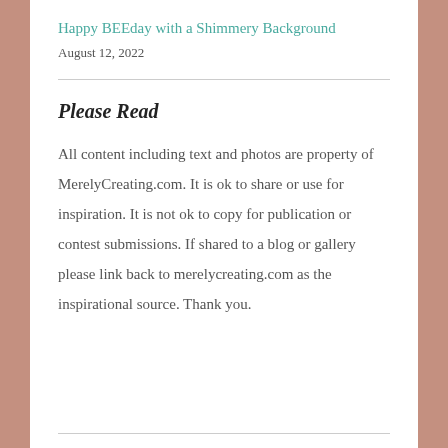Happy BEEday with a Shimmery Background
August 12, 2022
Please Read
All content including text and photos are property of MerelyCreating.com. It is ok to share or use for inspiration. It is not ok to copy for publication or contest submissions. If shared to a blog or gallery please link back to merelycreating.com as the inspirational source. Thank you.